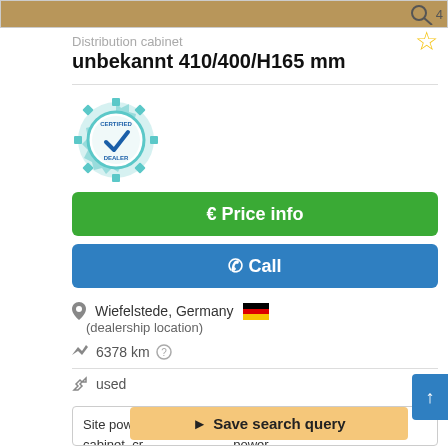[Figure (photo): Product photo thumbnail strip with magnifier icon and count 4]
Distribution cabinet
unbekannt  410/400/H165 mm
[Figure (logo): Certified Dealer badge with gear and checkmark]
€ Price info
✆ Call
Wiefelstede, Germany 🇩🇪
(dealership location)
6378 km
used
Site power ... connection cabinet, cr... , power
Save search query